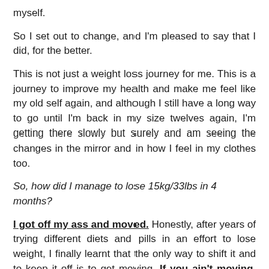myself.
So I set out to change, and I'm pleased to say that I did, for the better.
This is not just a weight loss journey for me. This is a journey to improve my health and make me feel like my old self again, and although I still have a long way to go until I'm back in my size twelves again, I'm getting there slowly but surely and am seeing the changes in the mirror and in how I feel in my clothes too.
So, how did I manage to lose 15kg/33lbs in 4 months?
I got off my ass and moved. Honestly, after years of trying different diets and pills in an effort to lose weight, I finally learnt that the only way to shift it and to keep it off is to get moving. If you ain't moving, you ain't losing!
I now go for a walk most days, pushing my youngest son in his buggy up and down the hills of our town. When the days were longer and brighter I pounded the country roads and hills, but